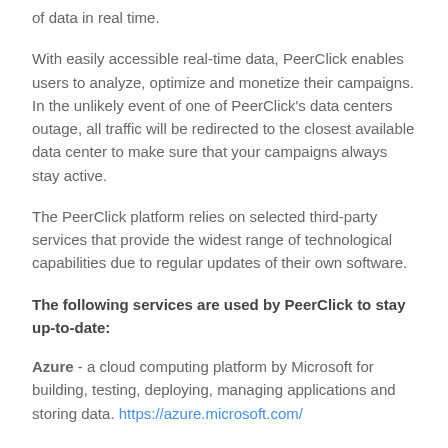of data in real time.
With easily accessible real-time data, PeerClick enables users to analyze, optimize and monetize their campaigns. In the unlikely event of one of PeerClick's data centers outage, all traffic will be redirected to the closest available data center to make sure that your campaigns always stay active.
The PeerClick platform relies on selected third-party services that provide the widest range of technological capabilities due to regular updates of their own software.
The following services are used by PeerClick to stay up-to-date:
Azure - a cloud computing platform by Microsoft for building, testing, deploying, managing applications and storing data. https://azure.microsoft.com/